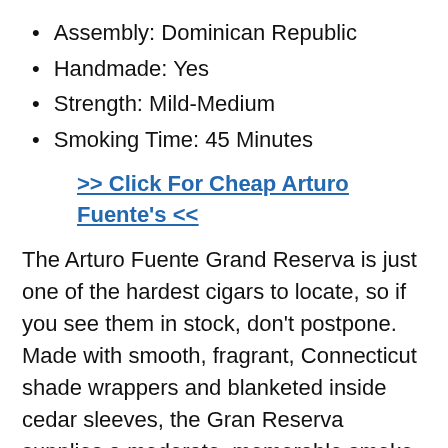Assembly: Dominican Republic
Handmade: Yes
Strength: Mild-Medium
Smoking Time: 45 Minutes
>> Click For Cheap Arturo Fuente's <<
The Arturo Fuente Grand Reserva is just one of the hardest cigars to locate, so if you see them in stock, don't postpone. Made with smooth, fragrant, Connecticut shade wrappers and blanketed inside cedar sleeves, the Gran Reserva supplies a moderate, memorable smoke.
4. Rocky Patel Decade